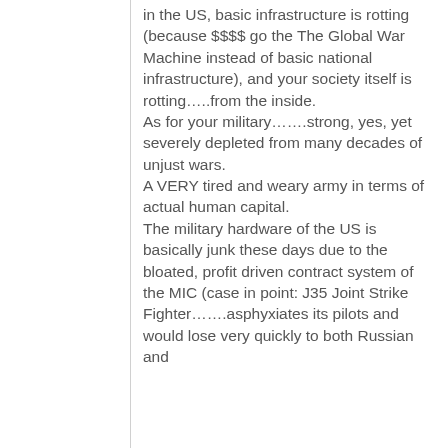in the US, basic infrastructure is rotting (because $$$$ go the The Global War Machine instead of basic national infrastructure), and your society itself is rotting…..from the inside.
As for your military…….strong, yes, yet severely depleted from many decades of unjust wars.
A VERY tired and weary army in terms of actual human capital.
The military hardware of the US is basically junk these days due to the bloated, profit driven contract system of the MIC (case in point: J35 Joint Strike Fighter…….asphyxiates its pilots and would lose very quickly to both Russian and